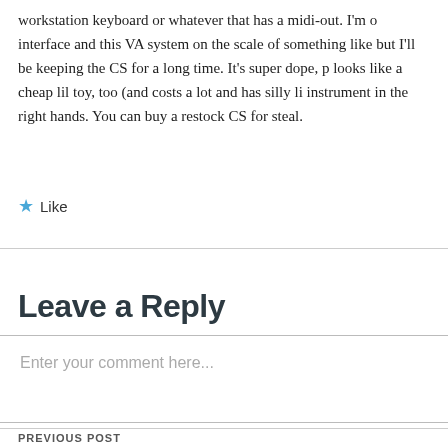workstation keyboard or whatever that has a midi-out. I'm o interface and this VA system on the scale of something like but I'll be keeping the CS for a long time. It's super dope, p looks like a cheap lil toy, too (and costs a lot and has silly li instrument in the right hands. You can buy a restock CS for steal.
★ Like
Leave a Reply
Enter your comment here...
PREVIOUS POST
Yamaha Reface CP Puts Classic